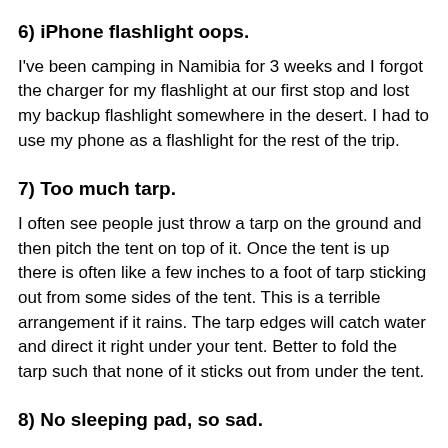6) iPhone flashlight oops.
I've been camping in Namibia for 3 weeks and I forgot the charger for my flashlight at our first stop and lost my backup flashlight somewhere in the desert. I had to use my phone as a flashlight for the rest of the trip.
7) Too much tarp.
I often see people just throw a tarp on the ground and then pitch the tent on top of it. Once the tent is up there is often like a few inches to a foot of tarp sticking out from some sides of the tent. This is a terrible arrangement if it rains. The tarp edges will catch water and direct it right under your tent. Better to fold the tarp such that none of it sticks out from under the tent.
8) No sleeping pad, so sad.
Putting something between your sleeping bag and the cold ground will help LOADS with staying warm. If you don't have something like a ThermaRest, just go to Walmart and buy one of those $10 blue foam pads that roll up. They aren't very comfy but they are very effective at helping you retain heat. Even a yoga mat or something is better than nothing.